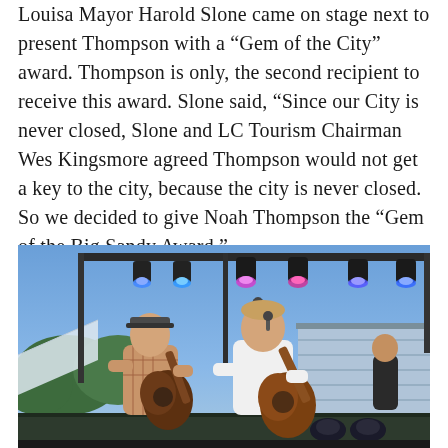Louisa Mayor Harold Slone came on stage next to present Thompson with a “Gem of the City” award. Thompson is only, the second recipient to receive this award. Slone said, “Since our City is never closed, Slone and LC Tourism Chairman Wes Kingsmore agreed Thompson would not get a key to the city, because the city is never closed. So we decided to give Noah Thompson the “Gem of the Big Sandy Award.”
[Figure (photo): Two musicians performing on an outdoor stage at dusk. One man on the left wears a plaid shirt and plays an acoustic guitar. A younger man in a white t-shirt stands center-right singing into a microphone and playing an acoustic guitar. Stage lighting rigs with colorful lights hang above. Bleachers and a chain-link fence are visible in the background.]